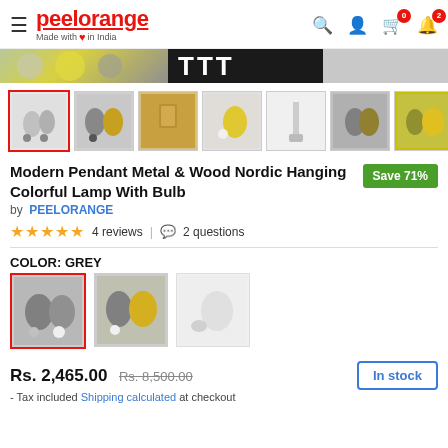peelorange - Made with love in India
[Figure (screenshot): Banner strip with colorful circles, bold letters, grey area]
[Figure (photo): Product thumbnail gallery showing pendant lamps in various colors]
Modern Pendant Metal & Wood Nordic Hanging Colorful Lamp With Bulb
Save 71%
by PEELORANGE
★★★★★  4 reviews | 2 questions
COLOR: GREY
[Figure (photo): Color swatch options: grey lamp, yellow lamp, white lamp]
Rs. 2,465.00  Rs. 8,500.00
- Tax included Shipping calculated at checkout
In stock